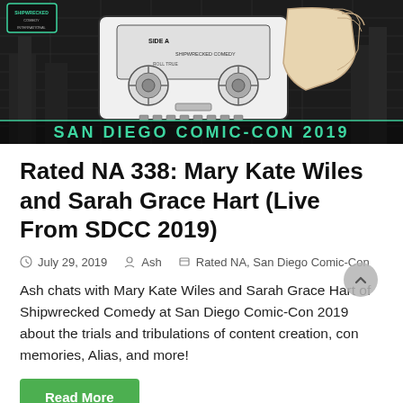[Figure (illustration): Shipwrecked Comedy San Diego Comic-Con 2019 promotional banner featuring a cassette tape (Side A, Roll True) held by a hand, with a city grid background and cyan/teal text reading 'SHIPWRECKED COMEDY' and 'SAN DIEGO COMIC-CON 2019'. Also shows a small badge for 'International'.]
Rated NA 338: Mary Kate Wiles and Sarah Grace Hart (Live From SDCC 2019)
July 29, 2019   Ash   Rated NA, San Diego Comic-Con
Ash chats with Mary Kate Wiles and Sarah Grace Hart of Shipwrecked Comedy at San Diego Comic-Con 2019 about the trials and tribulations of content creation, con memories, Alias, and more!
Read More